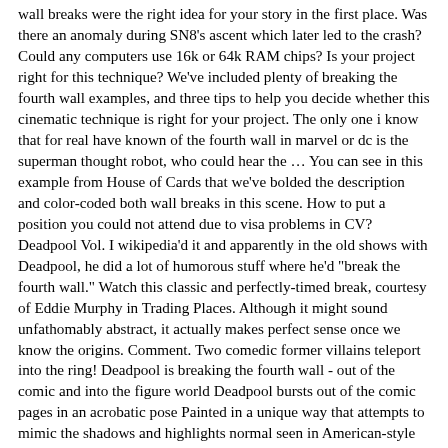wall breaks were the right idea for your story in the first place. Was there an anomaly during SN8's ascent which later led to the crash? Could any computers use 16k or 64k RAM chips? Is your project right for this technique? We've included plenty of breaking the fourth wall examples, and three tips to help you decide whether this cinematic technique is right for your project. The only one i know that for real have known of the fourth wall in marvel or dc is the superman thought robot, who could hear the … You can see in this example from House of Cards that we've bolded the description and color-coded both wall breaks in this scene. How to put a position you could not attend due to visa problems in CV? Deadpool Vol. I wikipedia'd it and apparently in the old shows with Deadpool, he did a lot of humorous stuff where he'd "break the fourth wall." Watch this classic and perfectly-timed break, courtesy of Eddie Murphy in Trading Places. Although it might sound unfathomably abstract, it actually makes perfect sense once we know the origins. Comment. Two comedic former villains teleport into the ring! Deadpool is breaking the fourth wall - out of the comic and into the figure world Deadpool bursts out of the comic pages in an acrobatic pose Painted in a unique way that attempts to mimic the shadows and highlights normal seen in American-style comic books Detailed sound effects and comic pages This was well utilized in the movies too. Making statements based on opinion; back them up with references or personal experience. If you're going to do it, you need to make it count. That way they stand out from the plots that happen in the flow of the narrative. So it…